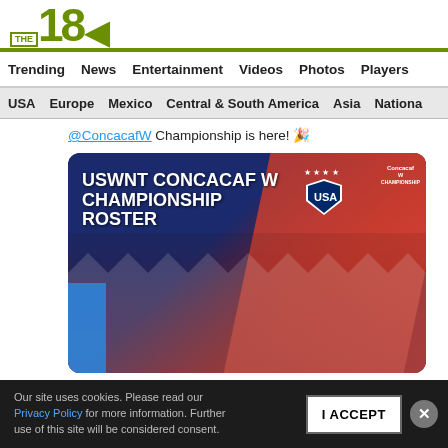THE 18
Trending  News  Entertainment  Videos  Photos  Players
USA  Europe  Mexico  Central & South America  Asia  Nationa
@ConcacafW Championship is here! 🎉
[Figure (photo): USWNT CONCACAF W CHAMPIONSHIP ROSTER promotional image showing the US Women's National Team players in red/navy zigzag uniforms, with USA badge and Concacaf W Championship logo on a blue/red background]
Our site uses cookies. Please read our Privacy Policy for more information. Further use of this site will be considered consent.
I ACCEPT